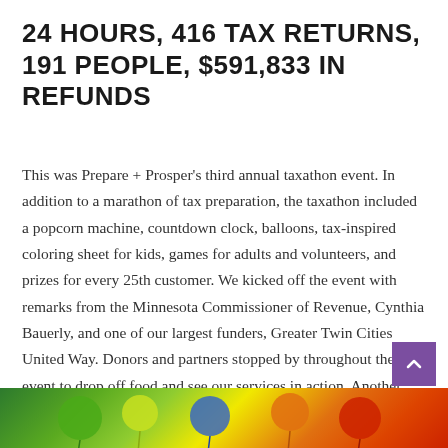24 HOURS, 416 TAX RETURNS, 191 PEOPLE, $591,833 IN REFUNDS
This was Prepare + Prosper's third annual taxathon event. In addition to a marathon of tax preparation, the taxathon included a popcorn machine, countdown clock, balloons, tax-inspired coloring sheet for kids, games for adults and volunteers, and prizes for every 25th customer. We kicked off the event with remarks from the Minnesota Commissioner of Revenue, Cynthia Bauerly, and one of our largest funders, Greater Twin Cities United Way. Donors and partners stopped by throughout the event to drop off food and see our services in action. Another year of fun was definitely had by all.
[Figure (photo): Bottom strip of a colorful photo showing balloons and event decorations in green, yellow, orange, and red tones.]